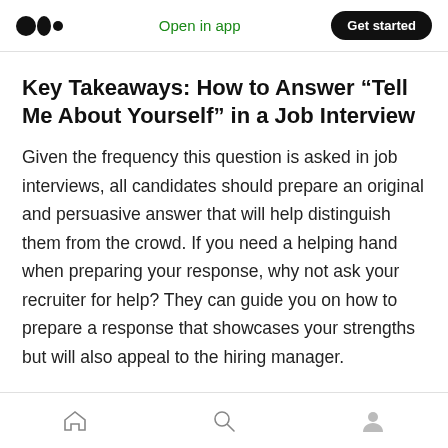Open in app | Get started
Key Takeaways: How to Answer “Tell Me About Yourself” in a Job Interview
Given the frequency this question is asked in job interviews, all candidates should prepare an original and persuasive answer that will help distinguish them from the crowd. If you need a helping hand when preparing your response, why not ask your recruiter for help? They can guide you on how to prepare a response that showcases your strengths but will also appeal to the hiring manager.
Home | Search | Profile